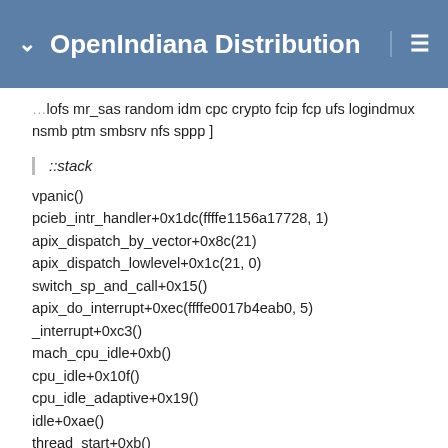OpenIndiana Distribution
…lofs mr_sas random idm cpc crypto fcip fcp ufs logindmux nsmb ptm smbsrv nfs sppp ]
::stack
vpanic()
pcieb_intr_handler+0x1dc(ffffe1156a17728, 1)
apix_dispatch_by_vector+0x8c(21)
apix_dispatch_lowlevel+0x1c(21, 0)
switch_sp_and_call+0x15()
apix_do_interrupt+0xec(ffffe0017b4eab0, 5)
_interrupt+0xc3()
mach_cpu_idle+0xb()
cpu_idle+0x10f()
cpu_idle_adaptive+0x19()
idle+0xae()
thread_start+0xb()
The problem appears to be related to the PCI-Express